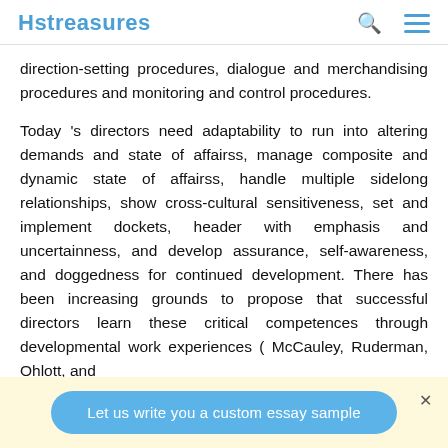Hstreasures
direction-setting procedures, dialogue and merchandising procedures and monitoring and control procedures.
Today 's directors need adaptability to run into altering demands and state of affairss, manage composite and dynamic state of affairss, handle multiple sidelong relationships, show cross-cultural sensitiveness, set and implement dockets, header with emphasis and uncertainness, and develop assurance, self-awareness, and doggedness for continued development. There has been increasing grounds to propose that successful directors learn these critical competences through developmental work experiences ( McCauley, Ruderman, Ohlott, and